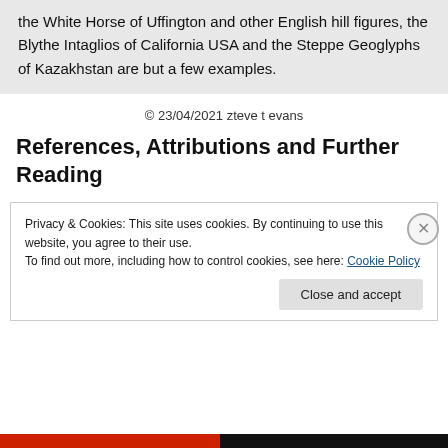the White Horse of Uffington and other English hill figures, the Blythe Intaglios of California USA and the Steppe Geoglyphs of Kazakhstan are but a few examples.
© 23/04/2021 zteve t evans
References, Attributions and Further Reading
Privacy & Cookies: This site uses cookies. By continuing to use this website, you agree to their use.
To find out more, including how to control cookies, see here: Cookie Policy